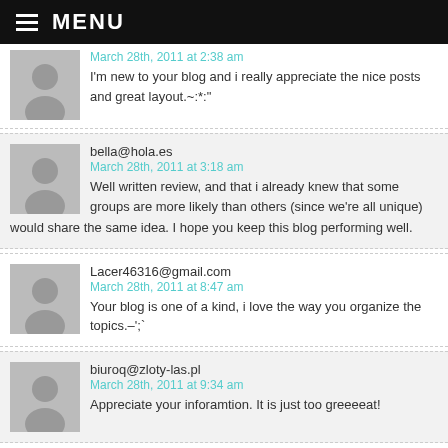MENU
March 28th, 2011 at 2:38 am
I'm new to your blog and i really appreciate the nice posts and great layout.~:*:"
bella@hola.es
March 28th, 2011 at 3:18 am
Well written review, and that i already knew that some groups are more likely than others (since we're all unique) would share the same idea. I hope you keep this blog performing well.
Lacer46316@gmail.com
March 28th, 2011 at 8:47 am
Your blog is one of a kind, i love the way you organize the topics.–';`
biuroq@zloty-las.pl
March 28th, 2011 at 9:34 am
Appreciate your inforamtion. It is just too greeeeat!